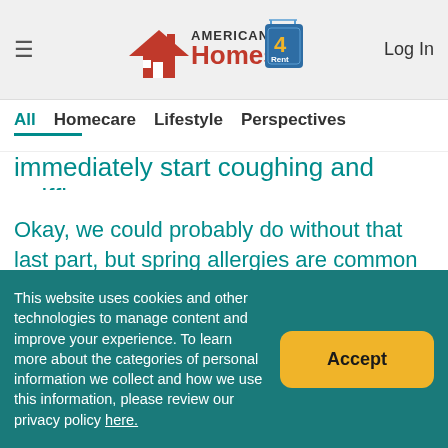American Homes 4 Rent — Log In
All   Homecare   Lifestyle   Perspectives
immediately start coughing and sniffing.
Okay, we could probably do without that last part, but spring allergies are common in most parts of the country. The good news: There's plenty you can do to combat those allergies and get back to feeling your best.
This website uses cookies and other technologies to manage content and improve your experience. To learn more about the categories of personal information we collect and how we use this information, please review our privacy policy here.